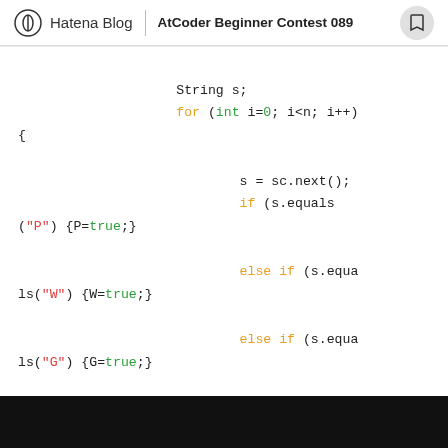Hatena Blog | AtCoder Beginner Contest 089
[Figure (screenshot): Java code snippet showing string input parsing with if/else if/else conditions checking for P, W, G strings and setting boolean flags true]
String s;
for (int i=0; i<n; i++)
{
    s = sc.next();
    if (s.equals("P")) {P=true;}
    else if (s.equals("W")) {W=true;}
    else if (s.equals("G")) {G=true;}
    else {Y=true;}
}
int count = 0;